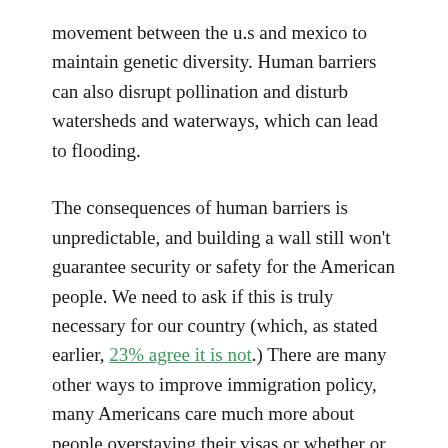movement between the u.s and mexico to maintain genetic diversity. Human barriers can also disrupt pollination and disturb watersheds and waterways, which can lead to flooding.
The consequences of human barriers is unpredictable, and building a wall still won't guarantee security or safety for the American people. We need to ask if this is truly necessary for our country (which, as stated earlier, 23% agree it is not.) There are many other ways to improve immigration policy, many Americans care much more about people overstaying their visas or whether or not illegal immigrants are receiving government benefits than they do about building a wall. The potential $40 billion